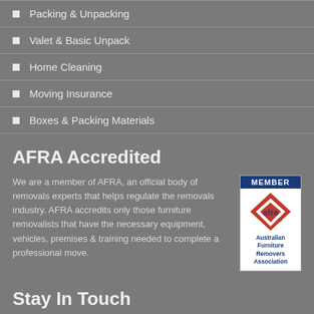Packing & Unpacking
Valet & Basic Unpack
Home Cleaning
Moving Insurance
Boxes & Packing Materials
AFRA Accredited
We are a member of AFRA, an official body of removals experts that helps regulate the removals industry. AFRA accredits only those furniture removalists that have the necessary equipment, vehicles, premises & training needed to complete a professional move.
[Figure (logo): AFRA Member badge — Australian Furniture Removers Association logo with diamond shape in red]
Stay In Touch